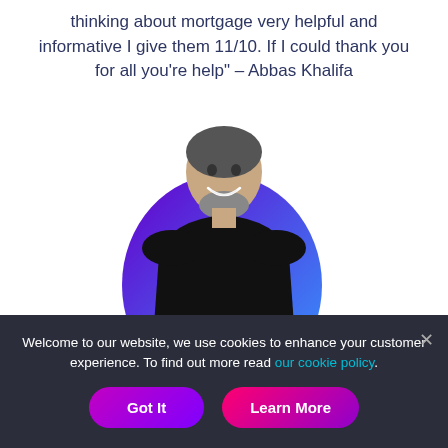thinking about mortgage very helpful and informative I give them 11/10. If I could thank you for all you're help" – Abbas Khalifa
[Figure (photo): Smiling man with beard wearing a black shirt, standing in front of a purple-to-blue gradient blob/oval shape background]
Welcome to our website, we use cookies to enhance your customer experience. To find out more read our cookie policy.